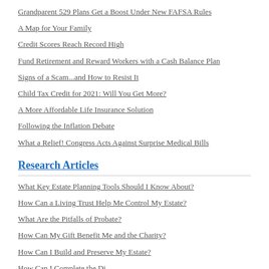Grandparent 529 Plans Get a Boost Under New FAFSA Rules
A Map for Your Family
Credit Scores Reach Record High
Fund Retirement and Reward Workers with a Cash Balance Plan
Signs of a Scam...and How to Resist It
Child Tax Credit for 2021: Will You Get More?
A More Affordable Life Insurance Solution
Following the Inflation Debate
What a Relief! Congress Acts Against Surprise Medical Bills
Research Articles
What Key Estate Planning Tools Should I Know About?
How Can a Living Trust Help Me Control My Estate?
What Are the Pitfalls of Probate?
How Can My Gift Benefit Me and the Charity?
How Can I Build and Preserve My Estate?
How Can I Complete the Distribution of My Estate?